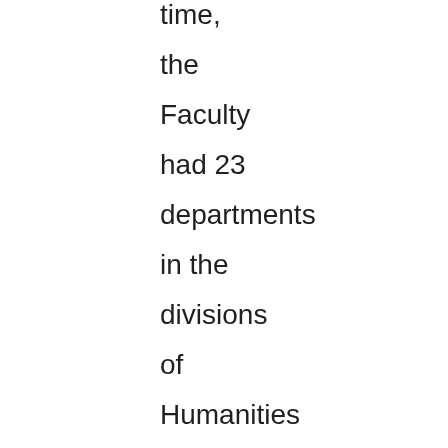At the time, the Faculty had 23 departments in the divisions of Humanities and Fine Arts, Social Science and Science, close to 8000 students, 300